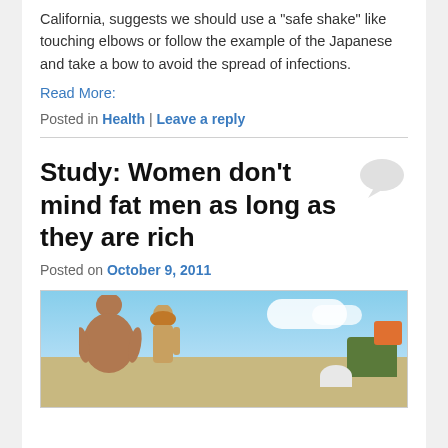California, suggests we should use a “safe shake” like touching elbows or follow the example of the Japanese and take a bow to avoid the spread of infections.
Read More:
Posted in Health | Leave a reply
Study: Women don’t mind fat men as long as they are rich
Posted on October 9, 2011
[Figure (photo): Two people viewed from behind sitting or standing at what appears to be a beach or outdoor area. A heavier man on the left and a slimmer woman on the right. Blue sky with clouds, trees, and a dome-shaped structure in the background.]